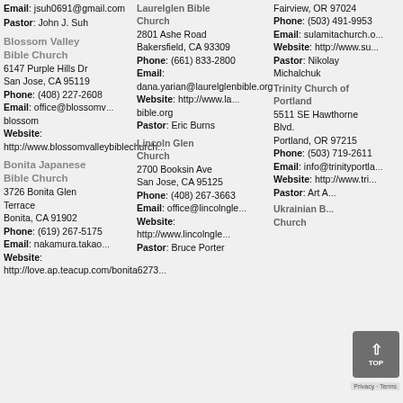Email: jsuh0691@gmail.com
Pastor: John J. Suh
Fairview, OR 97024
Phone: (503) 491-9953
Laurelglen Bible Church
2801 Ashe Road
Bakersfield, CA 93309
Phone: (661) 833-2800
Email: dana.yarian@laurelglenbible.org
Website: http://www.laurelglenbible.org
Pastor: Eric Burns
Blossom Valley Bible Church
6147 Purple Hills Dr
San Jose, CA 95119
Phone: (408) 227-2608
Email: office@blossomvalley...com
Website: http://www.blossomvalleybiblechurch...
Email: sulamitachurch.o...
Website: http://www.su...
Pastor: Nikolay Michalchuk
Trinity Church of Portland
5511 SE Hawthorne Blvd.
Portland, OR 97215
Phone: (503) 719-2611
Email: info@trinityportla...
Website: http://www.tri...
Pastor: Art A...
Lincoln Glen Church
2700 Booksin Ave
San Jose, CA 95125
Phone: (408) 267-3663
Email: office@lincolngle...
Website: http://www.lincolnglen.org
Pastor: Bruce Porter
Bonita Japanese Bible Church
3726 Bonita Glen Terrace
Bonita, CA 91902
Phone: (619) 267-5175
Email: nakamura.takao...
Website: http://love.ap.teacup.com/bonita6273...
Ukrainian B... Church